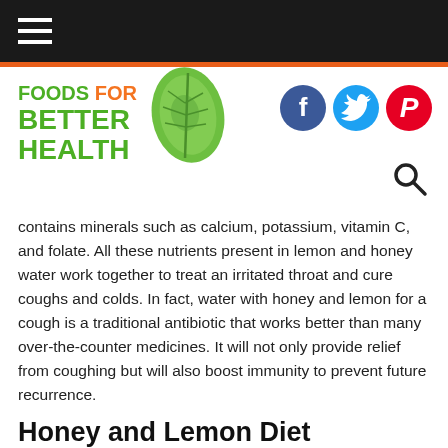FOODS FOR BETTER HEALTH (logo with navigation bar)
contains minerals such as calcium, potassium, vitamin C, and folate. All these nutrients present in lemon and honey water work together to treat an irritated throat and cure coughs and colds. In fact, water with honey and lemon for a cough is a traditional antibiotic that works better than many over-the-counter medicines. It will not only provide relief from coughing but will also boost immunity to prevent future recurrence.
Honey and Lemon Diet
As discussed earlier, a glass of freshly squeezed lemon